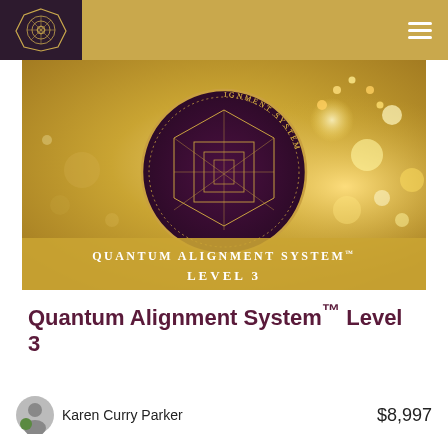[Figure (screenshot): Navigation bar with dark purple logo box containing geometric mandala logo on left, gold background, and hamburger menu icon on right]
[Figure (illustration): Banner image with gold bokeh background, circular Quantum Alignment System seal/logo in center (dark purple with geometric sacred geometry design and text 'THE QUANTUM ALIGNMENT SYSTEM' around circle), gold banner strip at bottom reading 'QUANTUM ALIGNMENT SYSTEM™ LEVEL 3']
Quantum Alignment System™ Level 3
Karen Curry Parker
$8,997